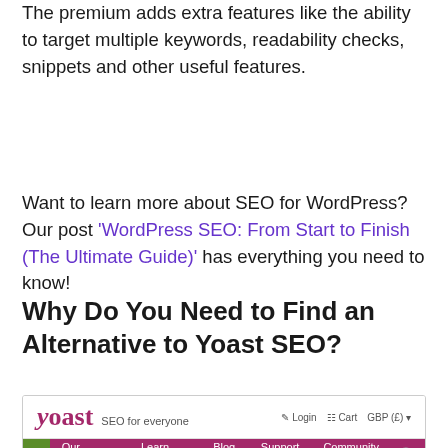The premium adds extra features like the ability to target multiple keywords, readability checks, snippets and other useful features.
Want to learn more about SEO for WordPress? Our post ‘WordPress SEO: From Start to Finish (The Ultimate Guide)’ has everything you need to know!
Why Do You Need to Find an Alternative to Yoast SEO?
[Figure (screenshot): Screenshot of the Yoast SEO website homepage showing the Yoast logo with tagline 'SEO for everyone', navigation menu with Our products, Learn SEO, Blog, Support, Community items, and a hero banner with a runner illustration on a green background.]